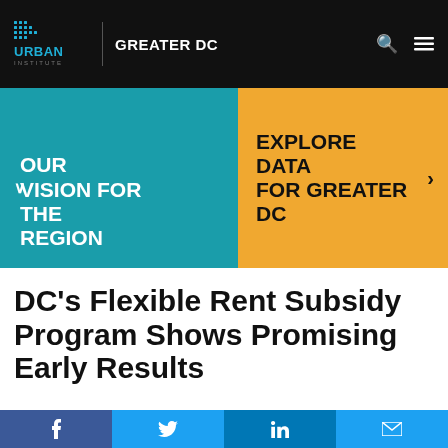URBAN INSTITUTE | GREATER DC
[Figure (screenshot): Two-panel navigation banner. Left panel in teal: OUR VISION FOR THE REGION. Right panel in amber/gold: EXPLORE DATA FOR GREATER DC with arrow.]
DC's Flexible Rent Subsidy Program Shows Promising Early Results
[Figure (infographic): Social share bar with four buttons: f (Facebook, dark blue), t (Twitter, blue), in (LinkedIn, dark blue), envelope (email, blue)]